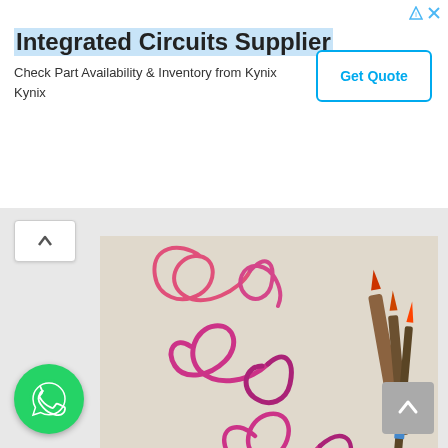[Figure (screenshot): Advertisement banner for Integrated Circuits Supplier - Kynix with Get Quote button]
[Figure (photo): Calligraphy artwork showing Hindi/Devanagari script in pink and purple ink on beige paper with paint brushes visible on the right side]
[Figure (photo): Second calligraphy artwork showing Hindi/Devanagari text in purple ink on beige paper with red paint brush tip visible]